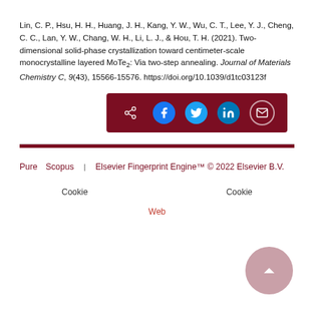Lin, C. P., Hsu, H. H., Huang, J. H., Kang, Y. W., Wu, C. T., Lee, Y. J., Cheng, C. C., Lan, Y. W., Chang, W. H., Li, L. J., & Hou, T. H. (2021). Two-dimensional solid-phase crystallization toward centimeter-scale monocrystalline layered MoTe2: Via two-step annealing. Journal of Materials Chemistry C, 9(43), 15566-15576. https://doi.org/10.1039/d1tc03123f
[Figure (other): Share icons bar with dark red background containing share, Facebook, Twitter, LinkedIn, and email icons]
Pure  Scopus    Elsevier Fingerprint Engine™ © 2022 Elsevier B.V.  Cookie  Cookie  Web